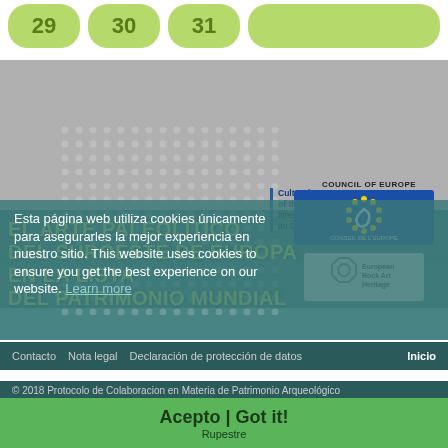[Figure (other): Calendar row showing days 29, 30, 31 as green rounded pill buttons with remaining space as green bar]
[Figure (other): Gray decorative background section with dot pattern and teal overlay containing page title text in Spanish about Paleolithic art]
EL ARTE PALEOLÍTICO DEL SUROESTE DE EUROPA EN LA LISTA DEL PATRIMONIO MUNDIAL
[Figure (logo): Council of Europe logo (blue circular design) with 'COUNCIL OF EUROPE / CONSEIL DE L'EUROPE' text]
[Figure (logo): European Rock Art Heritage logo]
Cultural route of the Council of Europe / Itinéraire culturel du Conseil de l'Europe
Esta página web utiliza cookies únicamente para asegurarles la mejor experiencia en nuestro sitio. This website uses cookies to ensure you get the best experience on our website. Learn more
Contacto   Nota legal   Declaración de protección de datos   Inicio
© 2018 Protocolo de Colaboracion en Materia de Patrimonio Arqueológico
Acepto | Got it!
Rupestre